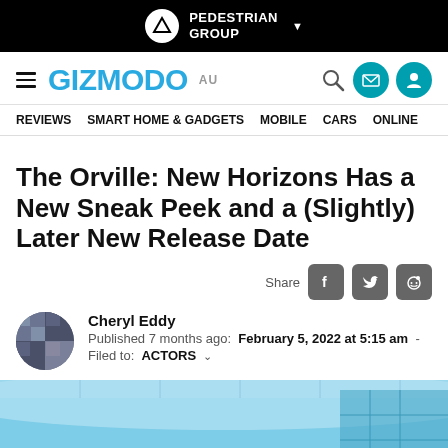PEDESTRIAN GROUP
GIZMODO AU — REVIEWS  SMART HOME & GADGETS  MOBILE  CARS  ONLINE
The Orville: New Horizons Has a New Sneak Peek and a (Slightly) Later New Release Date
Share
Cheryl Eddy
Published 7 months ago:  February 5, 2022 at 5:15 am  -
Filed to:  ACTORS
[Figure (photo): Screenshot from The Orville: New Horizons showing the interior of a spaceship bridge with blue-toned sci-fi lighting and characters visible]